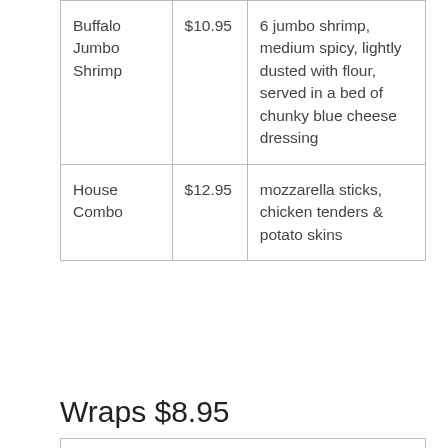| Item | Price | Description |
| --- | --- | --- |
| Buffalo Jumbo Shrimp | $10.95 | 6 jumbo shrimp, medium spicy, lightly dusted with flour, served in a bed of chunky blue cheese dressing |
| House Combo | $12.95 | mozzarella sticks, chicken tenders & potato skins |
Wraps $8.95